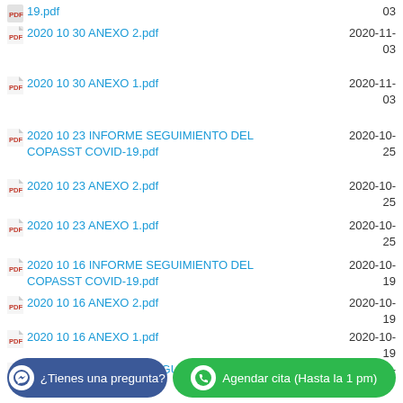19.pdf
2020 10 30 ANEXO 2.pdf
2020 10 30 ANEXO 1.pdf
2020 10 23 INFORME SEGUIMIENTO DEL COPASST COVID-19.pdf
2020 10 23 ANEXO 2.pdf
2020 10 23 ANEXO 1.pdf
2020 10 16 INFORME SEGUIMIENTO DEL COPASST COVID-19.pdf
2020 10 16 ANEXO 2.pdf
2020 10 16 ANEXO 1.pdf
2020 10 09 INFORME SEGUIMIENTO DEL COPASST COVID-19.pdf